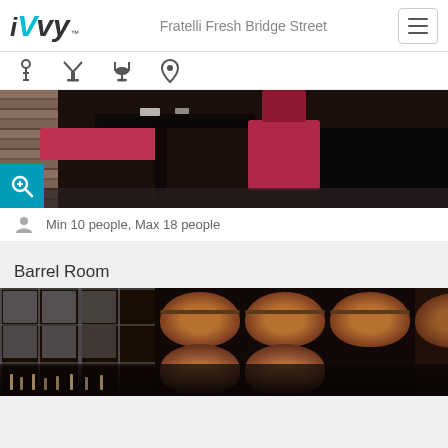iVvy — Fratelli Fresh Bridge Street
[Figure (screenshot): Navigation icon bar with info, cocktail/bar, dining, and location pin icons]
[Figure (photo): Restaurant interior photo showing black tables, red cushioned seating, and stone brick wall]
Min 10 people, Max 18 people
Barrel Room
[Figure (photo): Barrel Room photo showing wine barrels stacked on racks and a long dining table set with glasses]